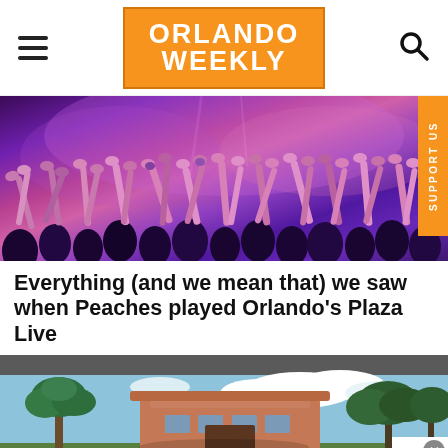ORLANDO WEEKLY
[Figure (photo): Crowd at a concert with hands raised, lit with purple/pink stage lighting]
Everything (and we mean that) we saw when Peaches played Orlando's Plaza Live
[Figure (photo): Exterior photo of a building with palm trees under a blue sky with clouds]